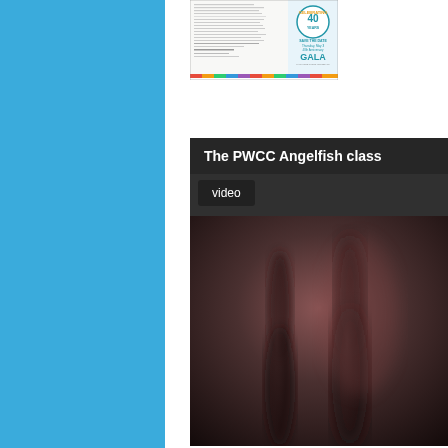[Figure (screenshot): Blue sidebar panel on the left side of the page]
[Figure (screenshot): PWCC 40th Anniversary Gala flyer thumbnail showing a letter and Save the Date announcement for Thursday May 3, 40th Anniversary Gala]
[Figure (screenshot): Video thumbnail for 'The PWCC Angelfish class' with a dark blurred background showing silhouettes, with a 'video' label tag]